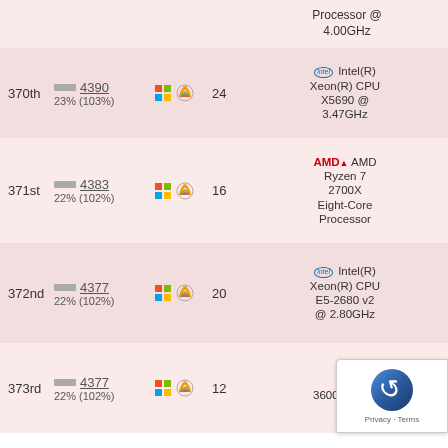| Rank | Score | % | OS | Perf | Threads | CPU Name |
| --- | --- | --- | --- | --- | --- | --- |
|  |  |  |  |  |  | Processor @ 4.00GHz |
| 370th | 4390 | 23% (103%) | Windows | Perf | 24 | Intel(R) Xeon(R) CPU X5690 @ 3.47GHz |
| 371st | 4383 | 22% (102%) | Windows | Perf | 16 | AMD Ryzen 7 2700X Eight-Core Processor |
| 372nd | 4377 | 22% (102%) | Windows | Perf | 20 | Intel(R) Xeon(R) CPU E5-2680 v2 @ 2.80GHz |
| 373rd | 4377 | 22% (102%) | Windows | Perf | 12 | AMD Ryzen 5 3600 6-Core |